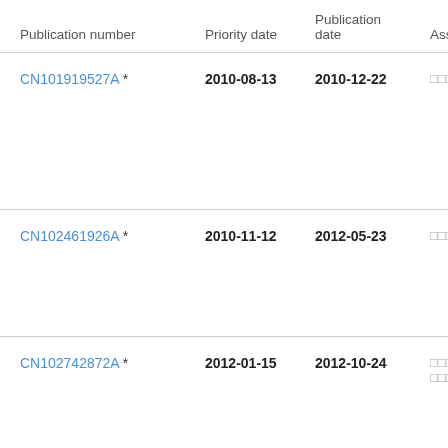| Publication number | Priority date | Publication date | Ass |
| --- | --- | --- | --- |
| CN101919527A * | 2010-08-13 | 2010-12-22 | □□□□ |
| CN102461926A * | 2010-11-12 | 2012-05-23 | □□□□ |
| CN102742872A * | 2012-01-15 | 2012-10-24 | □□□□ □□□□ |
| CN105011230A * | 2015-06-04 | 2015-11-04 | □□□□ □ |